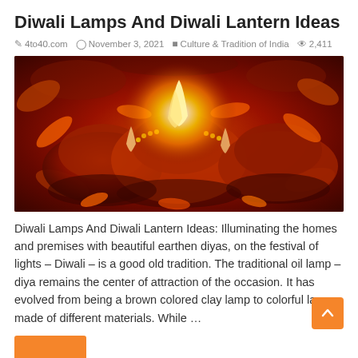Diwali Lamps And Diwali Lantern Ideas
4to40.com  November 3, 2021  Culture & Tradition of India  2,411
[Figure (photo): Close-up photograph of decorated clay oil lamps (diyas) with vibrant orange, red and gold colors, lit with flames, surrounded by flower petals]
Diwali Lamps And Diwali Lantern Ideas: Illuminating the homes and premises with beautiful earthen diyas, on the festival of lights – Diwali – is a good old tradition. The traditional oil lamp – diya remains the center of attraction of the occasion. It has evolved from being a brown colored clay lamp to colorful lamp, made of different materials. While …